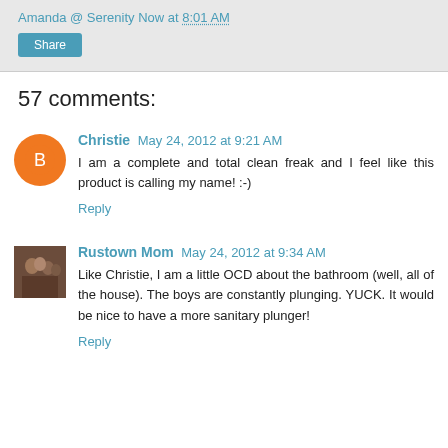Amanda @ Serenity Now at 8:01 AM
Share
57 comments:
Christie  May 24, 2012 at 9:21 AM
I am a complete and total clean freak and I feel like this product is calling my name! :-)
Reply
Rustown Mom  May 24, 2012 at 9:34 AM
Like Christie, I am a little OCD about the bathroom (well, all of the house). The boys are constantly plunging. YUCK. It would be nice to have a more sanitary plunger!
Reply